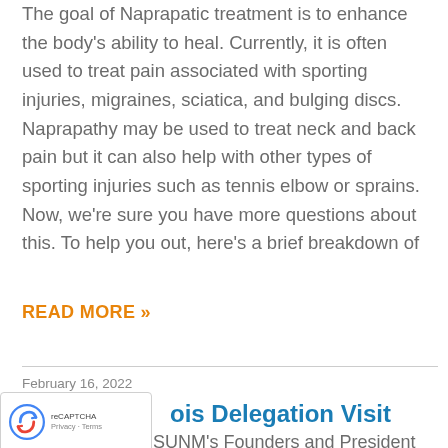The goal of Naprapatic treatment is to enhance the body's ability to heal. Currently, it is often used to treat pain associated with sporting injuries, migraines, sciatica, and bulging discs. Naprapathy may be used to treat neck and back pain but it can also help with other types of sporting injuries such as tennis elbow or sprains.  Now, we're sure you have more questions about this. To help you out, here's a brief breakdown of
READ MORE »
February 16, 2022
ois Delegation Visit
Last December, SUNM's Founders and President